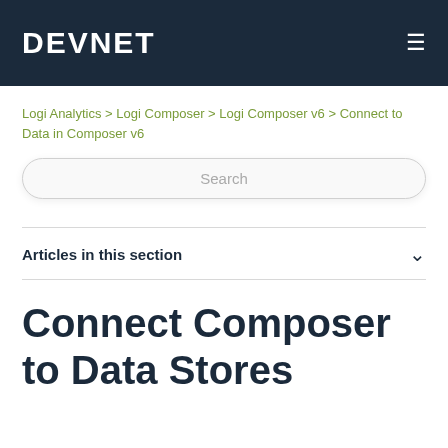DEVNET
Logi Analytics > Logi Composer > Logi Composer v6 > Connect to Data in Composer v6
Search
Articles in this section
Connect Composer to Data Stores